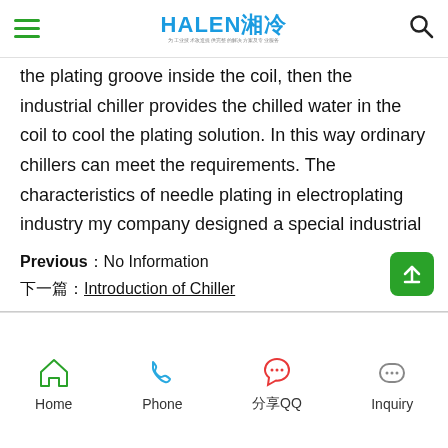HALEN 湘冷 [logo and navigation bar]
the plating groove inside the coil, then the industrial chiller provides the chilled water in the coil to cool the plating solution. In this way ordinary chillers can meet the requirements. The characteristics of needle plating in electroplating industry my company designed a special industrial chiller electroplating.
Previous：No Information
下一篇：Introduction of Chiller
Home  Phone  分享QQ  Inquiry